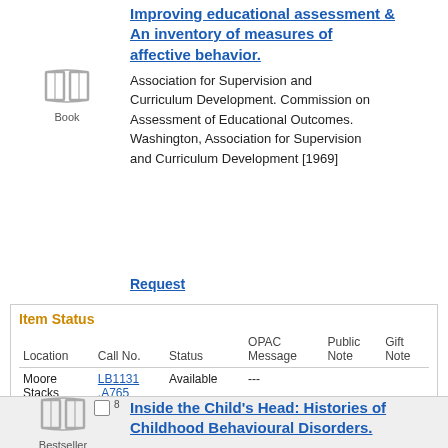Improving educational assessment & An inventory of measures of affective behavior.
Association for Supervision and Curriculum Development. Commission on Assessment of Educational Outcomes. Washington, Association for Supervision and Curriculum Development [1969]
Request
| Location | Call No. | Status | OPAC Message | Public Note | Gift Note |
| --- | --- | --- | --- | --- | --- |
| Moore Stacks | LB1131 .A765 | Available | --- |  |  |
Inside the Child's Head: Histories of Childhood Behavioural Disorders.
Laurence, Jennifer. [Place of publication not identified] : Brill Academic Publishers : Brill, 2019.
Electronic Resources More...
Item Status
Observing adolescents with